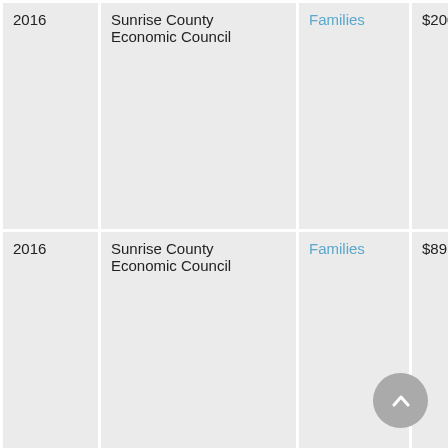| Year | Organization | Category | Amount |
| --- | --- | --- | --- |
| 2016 | Sunrise County Economic Council | Families | $200,000 |
| 2016 | Sunrise County Economic Council | Families | $89,930 |